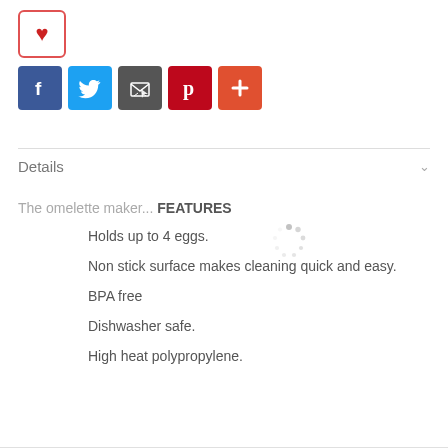[Figure (other): Heart/favorite button icon with red border and red heart symbol]
[Figure (other): Social sharing icons row: Facebook (blue), Twitter (blue), Email (dark gray), Pinterest (red), Add/Plus (orange-red)]
Details
The omelette maker... FEATURES
Holds up to 4 eggs.
Non stick surface makes cleaning quick and easy.
BPA free
Dishwasher safe.
High heat polypropylene.